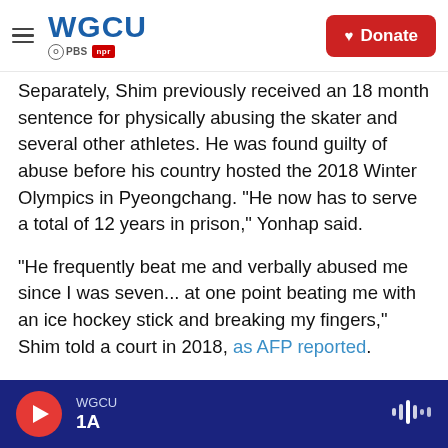WGCU PBS NPR | Donate
Separately, Shim previously received an 18 month sentence for physically abusing the skater and several other athletes. He was found guilty of abuse before his country hosted the 2018 Winter Olympics in Pyeongchang. "He now has to serve a total of 12 years in prison," Yonhap said.
"He frequently beat me and verbally abused me since I was seven... at one point beating me with an ice hockey stick and breaking my fingers," Shim told a court in 2018, as AFP reported.
As NPR's Anthony Kuhn reported in 2019, Cho "has denied the sexual abuse charges through his
WGCU | 1A